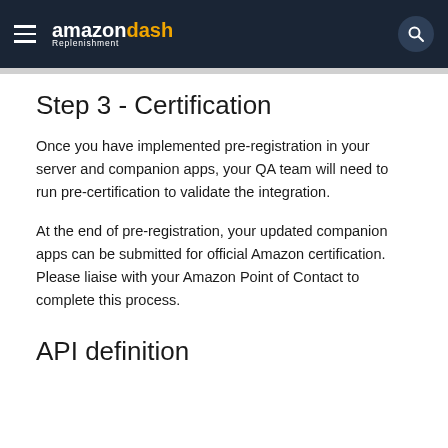amazon dash Replenishment
Step 3 - Certification
Once you have implemented pre-registration in your server and companion apps, your QA team will need to run pre-certification to validate the integration.
At the end of pre-registration, your updated companion apps can be submitted for official Amazon certification. Please liaise with your Amazon Point of Contact to complete this process.
API definition